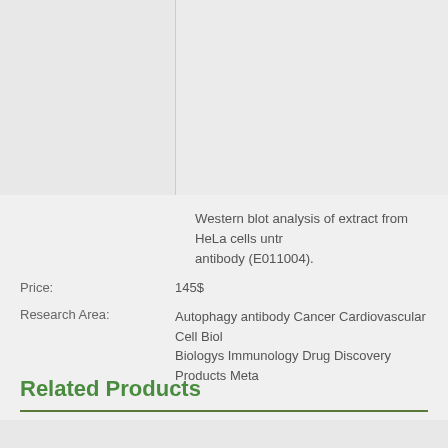[Figure (photo): Western blot image panels - two panels side by side showing HeLa cell extracts]
Western blot analysis of extract from HeLa cells untr antibody (E011004).
Price: 145$
Research Area: Autophagy antibody Cancer Cardiovascular Cell Biol Biologys Immunology Drug Discovery Products Meta
Related Products